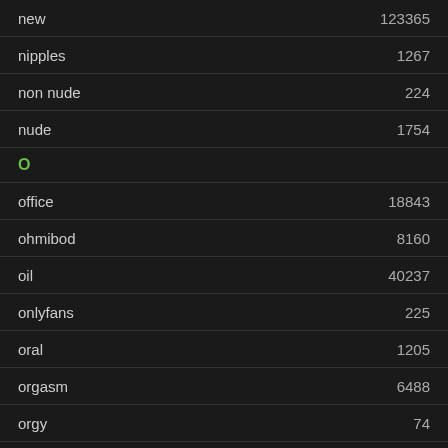new  123365
nipples  1267
non nude  224
nude  1754
O
office  18843
ohmibod  8160
oil  40237
onlyfans  225
oral  1205
orgasm  6488
orgy  74
outdoor  1416
P
panties